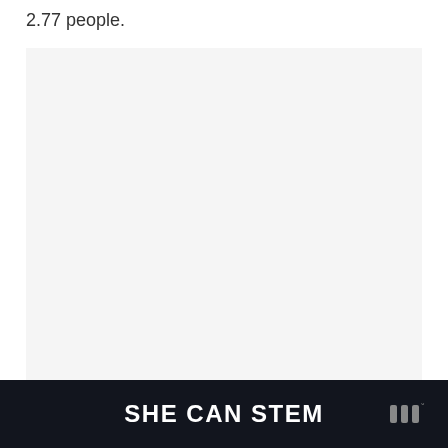2.77 people.
[Figure (other): Light gray rectangular image placeholder area]
SHE CAN STEM